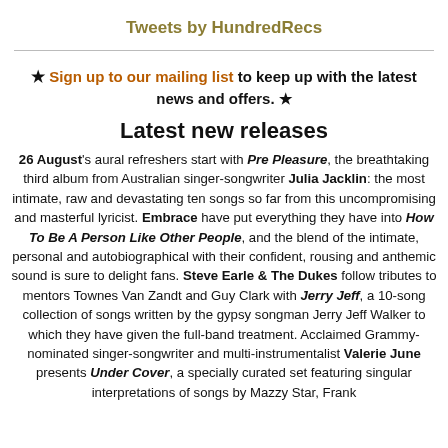Tweets by HundredRecs
★ Sign up to our mailing list to keep up with the latest news and offers. ★
Latest new releases
26 August's aural refreshers start with Pre Pleasure, the breathtaking third album from Australian singer-songwriter Julia Jacklin: the most intimate, raw and devastating ten songs so far from this uncompromising and masterful lyricist. Embrace have put everything they have into How To Be A Person Like Other People, and the blend of the intimate, personal and autobiographical with their confident, rousing and anthemic sound is sure to delight fans. Steve Earle & The Dukes follow tributes to mentors Townes Van Zandt and Guy Clark with Jerry Jeff, a 10-song collection of songs written by the gypsy songman Jerry Jeff Walker to which they have given the full-band treatment. Acclaimed Grammy-nominated singer-songwriter and multi-instrumentalist Valerie June presents Under Cover, a specially curated set featuring singular interpretations of songs by Mazzy Star, Frank